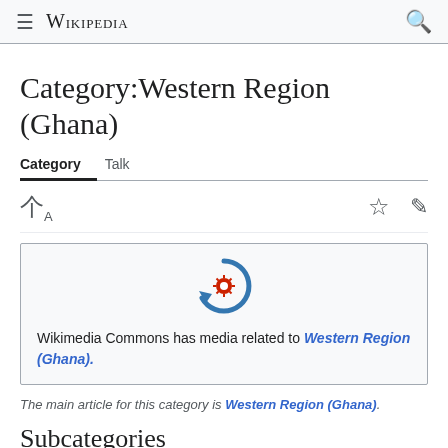Wikipedia
Category:Western Region (Ghana)
Category   Talk
[Figure (logo): Wikimedia Commons logo — blue circular arrow with red and white center gear/sun motif]
Wikimedia Commons has media related to Western Region (Ghana).
The main article for this category is Western Region (Ghana).
Subcategories
This category has the following 5 subcategories, out of 5 total.